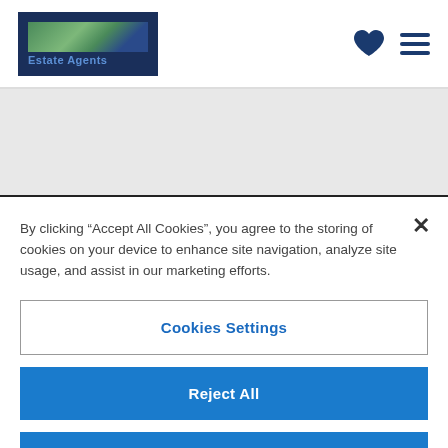[Figure (logo): Winkworth Estate Agents logo — dark navy blue background with green/blue landscape image and blue text 'Estate Agents']
By clicking “Accept All Cookies”, you agree to the storing of cookies on your device to enhance site navigation, analyze site usage, and assist in our marketing efforts.
Cookies Settings
Reject All
Accept All Cookies